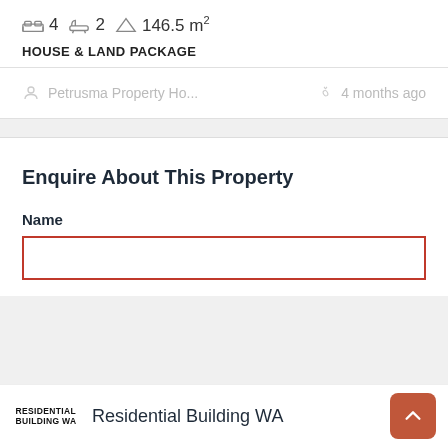4 bedrooms  2 bathrooms  146.5 m²
HOUSE & LAND PACKAGE
Petrusma Property Ho...   4 months ago
Enquire About This Property
Name
Residential Building WA